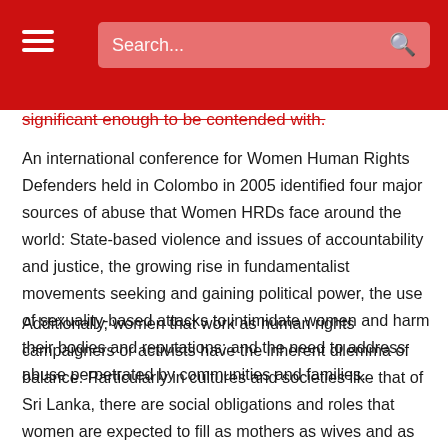Search...
significant enough to be contended with.
An international conference for Women Human Rights Defenders held in Colombo in 2005 identified four major sources of abuse that Women HRDs face around the world: State-based violence and issues of accountability and justice, the growing rise in fundamentalist movements seeking and gaining political power, the use of sexuality-based attacks to intimidate women and harm their bodies and reputations; and the need to address abuse perpetrated by communities and families.
Additionally, women that work as human rights campaigners or activists have the inherent dilemma of balance. Particularly in cultures and societies like that of Sri Lanka, there are social obligations and roles that women are expected to fill as mothers as wives and as daughters. Women who choose to work in the field of human rights are not always understood by their families